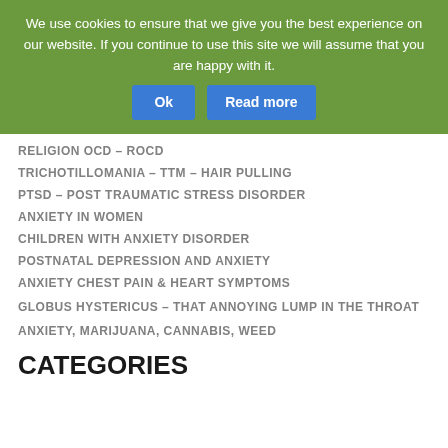We use cookies to ensure that we give you the best experience on our website. If you continue to use this site we will assume that you are happy with it. Ok Read more
RELIGION OCD – ROCD
TRICHOTILLOMANIA – TTM – HAIR PULLING
PTSD – POST TRAUMATIC STRESS DISORDER
ANXIETY IN WOMEN
CHILDREN WITH ANXIETY DISORDER
POSTNATAL DEPRESSION AND ANXIETY
ANXIETY CHEST PAIN & HEART SYMPTOMS
GLOBUS HYSTERICUS – THAT ANNOYING LUMP IN THE THROAT
ANXIETY, MARIJUANA, CANNABIS, WEED
CATEGORIES